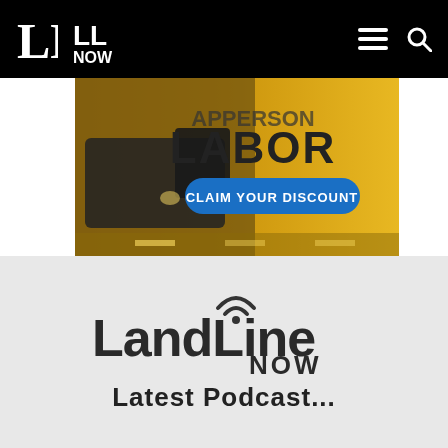LL | LL NOW
[Figure (photo): Advertisement banner showing a semi truck on a highway with yellow background and text 'LABOR' and a blue button 'CLAIM YOUR DISCOUNT']
[Figure (logo): LandLine NOW logo with wifi/signal arc above the i in Line]
Latest Podcast...